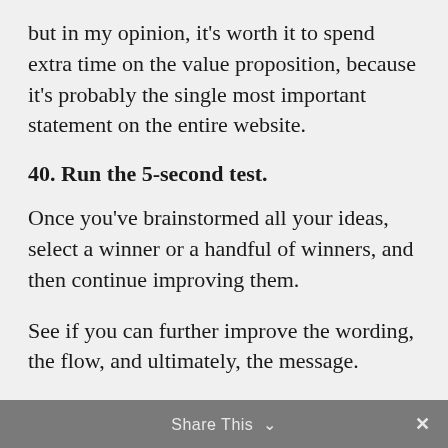but in my opinion, it's worth it to spend extra time on the value proposition, because it's probably the single most important statement on the entire website.
40. Run the 5-second test.
Once you've brainstormed all your ideas, select a winner or a handful of winners, and then continue improving them.
See if you can further improve the wording, the flow, and ultimately, the message.
Share This ∨  ×